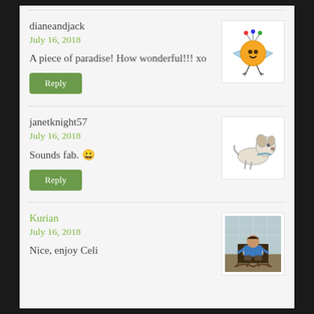dianeandjack
July 16, 2018
A piece of paradise! How wonderful!!! xo
Reply
[Figure (illustration): Cartoon drawing of a round orange bird-like creature with blue wings, antennae with colorful balls, and stick legs]
janetknight57
July 16, 2018
Sounds fab. 😀
Reply
[Figure (illustration): Sketch drawing of a white dog lying down]
Kurian
July 16, 2018
Nice, enjoy Celi
[Figure (photo): Photo of a person in blue shirt sitting in a rocking chair on what appears to be a balcony or porch]